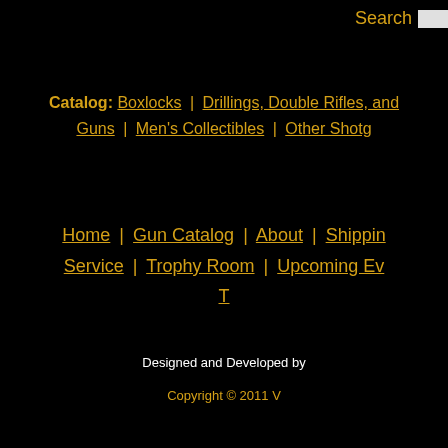Search
Catalog: Boxlocks | Drillings, Double Rifles, and Guns | Men's Collectibles | Other Shotg
Home | Gun Catalog | About | Shippin Service | Trophy Room | Upcoming Ev T
[Figure (screenshot): Small thumbnail image partially visible at right edge]
Designed and Developed by
Copyright © 2011 V